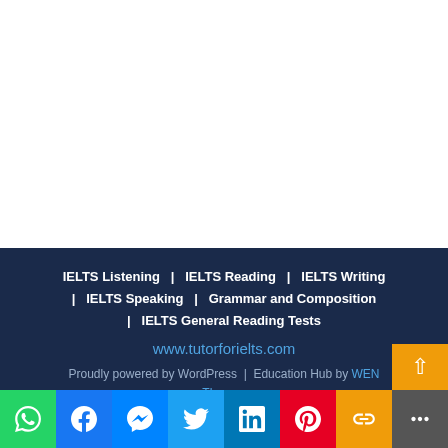IELTS Listening  |  IELTS Reading  |  IELTS Writing  |  IELTS Speaking  |  Grammar and Composition  |  IELTS General Reading Tests
www.tutorforielts.com
Proudly powered by WordPress | Education Hub by WEN Themes